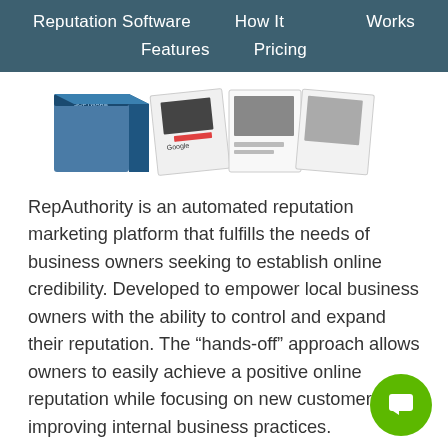Reputation Software  How It Works  Features  Pricing
[Figure (photo): Product box and promotional materials including documents and images with Google branding]
RepAuthority is an automated reputation marketing platform that fulfills the needs of business owners seeking to establish online credibility. Developed to empower local business owners with the ability to control and expand their reputation. The “hands-off” approach allows owners to easily achieve a positive online reputation while focusing on new customers and improving internal business practices.